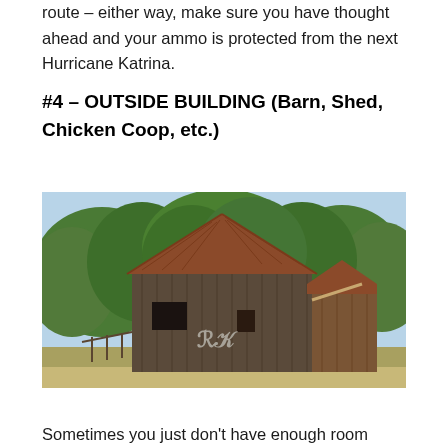route – either way, make sure you have thought ahead and your ammo is protected from the next Hurricane Katrina.
#4 – OUTSIDE BUILDING (Barn, Shed, Chicken Coop, etc.)
[Figure (photo): An old weathered wooden barn with a rusted metal roof, surrounded by green trees. The barn has a large main section with a peaked roof and a lower attached section on the right side. A white symbol is painted on the front face of the barn.]
Sometimes you just don't have enough room